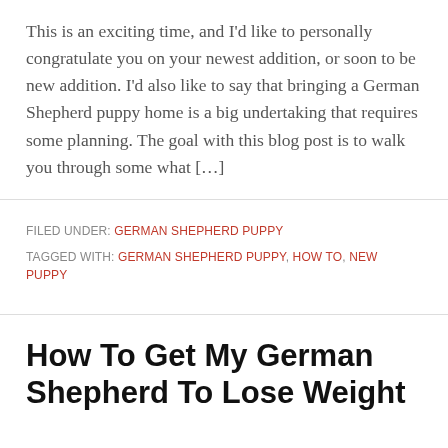This is an exciting time, and I'd like to personally congratulate you on your newest addition, or soon to be new addition. I'd also like to say that bringing a German Shepherd puppy home is a big undertaking that requires some planning. The goal with this blog post is to walk you through some what […]
FILED UNDER: GERMAN SHEPHERD PUPPY
TAGGED WITH: GERMAN SHEPHERD PUPPY, HOW TO, NEW PUPPY
How To Get My German Shepherd To Lose Weight